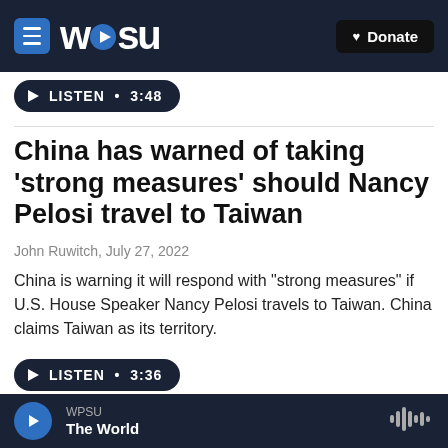WPSU | Donate
[Figure (screenshot): LISTEN • 3:48 audio player button (dark pill-shaped)]
China has warned of taking 'strong measures' should Nancy Pelosi travel to Taiwan
John Ruwitch, July 27, 2022
China is warning it will respond with "strong measures" if U.S. House Speaker Nancy Pelosi travels to Taiwan. China claims Taiwan as its territory.
[Figure (screenshot): LISTEN • 3:36 audio player button (dark pill-shaped)]
WPSU | The World